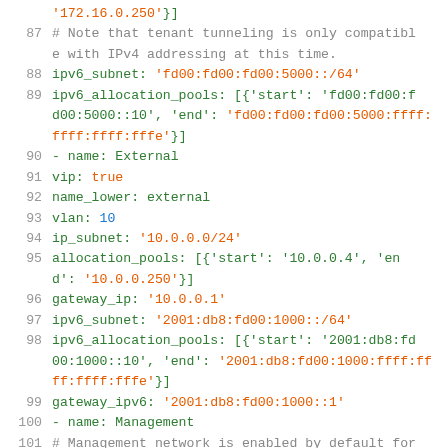Code listing lines 87-101: network configuration YAML snippet showing ipv6_subnet, ipv6_allocation_pools, External network settings, gateway_ip, gateway_ipv6, and Management network definition.